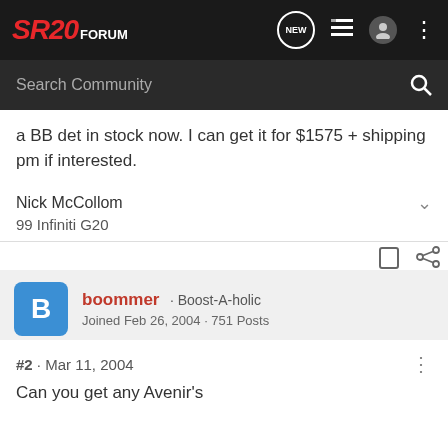SR20 FORUM
a BB det in stock now. I can get it for $1575 + shipping pm if interested.
Nick McCollom
99 Infiniti G20
boommer · Boost-A-holic
Joined Feb 26, 2004 · 751 Posts
#2 · Mar 11, 2004
Can you get any Avenir's